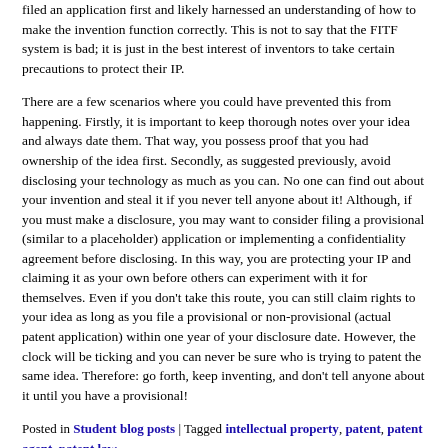filed an application first and likely harnessed an understanding of how to make the invention function correctly. This is not to say that the FITF system is bad; it is just in the best interest of inventors to take certain precautions to protect their IP.
There are a few scenarios where you could have prevented this from happening. Firstly, it is important to keep thorough notes over your idea and always date them. That way, you possess proof that you had ownership of the idea first. Secondly, as suggested previously, avoid disclosing your technology as much as you can. No one can find out about your invention and steal it if you never tell anyone about it! Although, if you must make a disclosure, you may want to consider filing a provisional (similar to a placeholder) application or implementing a confidentiality agreement before disclosing. In this way, you are protecting your IP and claiming it as your own before others can experiment with it for themselves. Even if you don't take this route, you can still claim rights to your idea as long as you file a provisional or non-provisional (actual patent application) within one year of your disclosure date. However, the clock will be ticking and you can never be sure who is trying to patent the same idea. Therefore: go forth, keep inventing, and don't tell anyone about it until you have a provisional!
Posted in Student blog posts | Tagged intellectual property, patent, patent agent, patent law